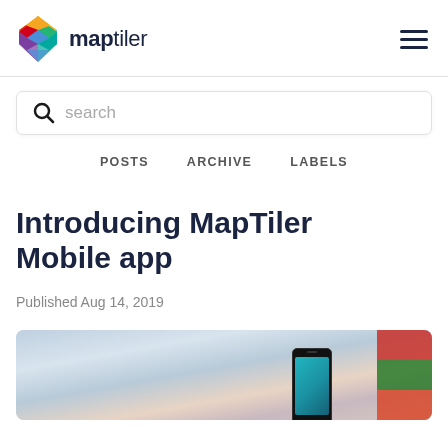maptiler
[Figure (logo): MapTiler logo: colorful diamond/rhombus shape with red, orange, yellow, green, blue, purple segments, followed by bold 'map' and regular weight 'tiler' text in dark navy color]
search
POSTS  ARCHIVE  LABELS
Introducing MapTiler Mobile app
Published Aug 14, 2019
[Figure (photo): Partial photo showing a smartphone (iPhone-style) displaying a map app screen, set against a blurred outdoor background with colorful fabric or flags visible on the right side]